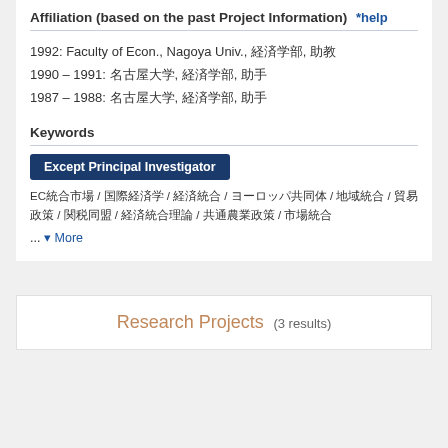Affiliation (based on the past Project Information) *help
1992: Faculty of Econ., Nagoya Univ., 経済学部, 助教
1990 – 1991: 名古屋大学, 経済学部, 助手
1987 – 1988: 名古屋大学, 経済学部, 助手
Keywords
Except Principal Investigator
EC統合市場 / 国際経済学 / 経済統合 / ヨーロッパ共同体 / 地域統合 / 貿易政策 / 関税同盟 / 経済統合理論 / 共通農業政策 / 市場統合
... ▾ More
Research Projects (3 results)